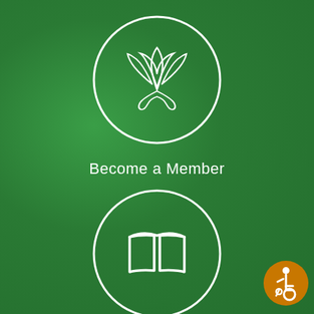[Figure (logo): White outlined circle containing a decorative plant/leaf logo icon with curling stems on a green background]
Become a Member
[Figure (logo): White outlined circle containing an open book icon on a green background]
[Figure (logo): Orange circle with white wheelchair accessibility icon in the bottom right corner]